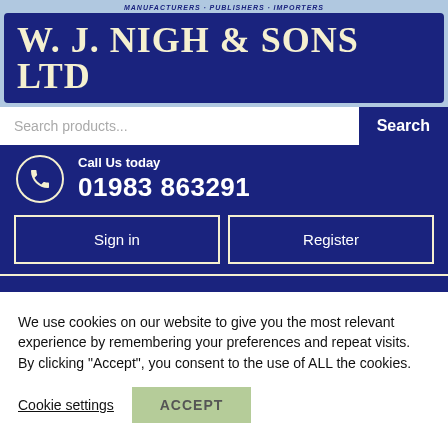W. J. NIGH & SONS LTD
Search products...
Call Us today
01983 863291
Sign in
Register
We use cookies on our website to give you the most relevant experience by remembering your preferences and repeat visits. By clicking “Accept”, you consent to the use of ALL the cookies.
Cookie settings
ACCEPT